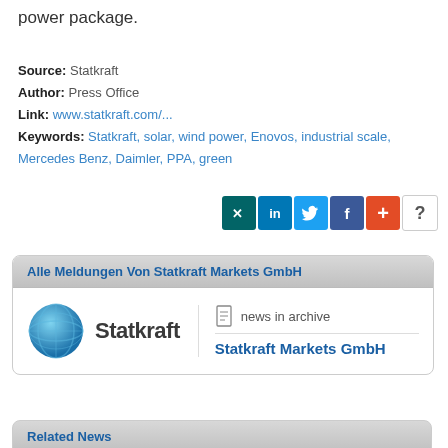power package.
Source: Statkraft
Author: Press Office
Link: www.statkraft.com/...
Keywords: Statkraft, solar, wind power, Enovos, industrial scale, Mercedes Benz, Daimler, PPA, green
[Figure (other): Social sharing buttons: XING, LinkedIn, Twitter, Facebook, Add (+), and a question mark button]
Alle Meldungen Von Statkraft Markets GmbH
[Figure (logo): Statkraft logo with blue globe icon and Statkraft wordmark, alongside news in archive and Statkraft Markets GmbH link]
Related News